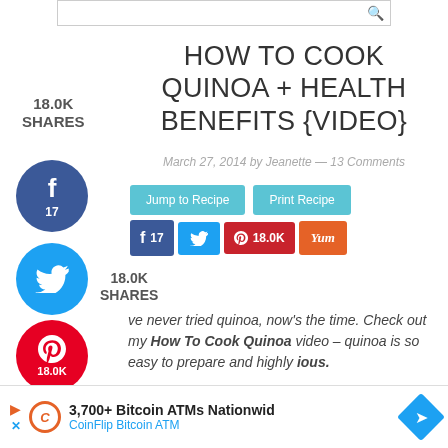[Figure (screenshot): Search bar at top of page]
HOW TO COOK QUINOA + HEALTH BENEFITS {VIDEO}
March 27, 2014 by Jeanette — 13 Comments
18.0K SHARES
[Figure (infographic): Social share buttons: Facebook (17), Twitter, Pinterest (18.0K), Yummly. Jump to Recipe and Print Recipe buttons.]
ve never tried quinoa, now's the time. Check out my How To Quinoa video – quinoa is so easy to prepare and highly ious.
[Figure (screenshot): Ad banner: 3,700+ Bitcoin ATMs Nationwid — CoinFlip Bitcoin ATM]